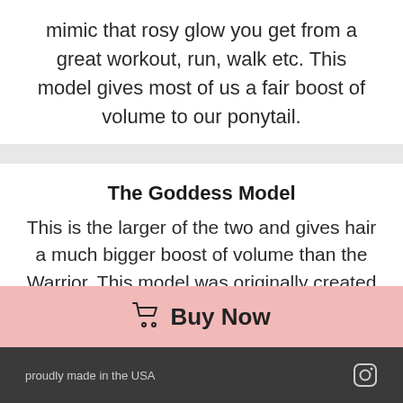mimic that rosy glow you get from a great workout, run, walk etc. This model gives most of us a fair boost of volume to our ponytail.
The Goddess Model
This is the larger of the two and gives hair a much bigger boost of volume than the Warrior. This model was originally created and used for special events which is why it was done in a gold finish. This past year has shown us just how important every
Buy Now
proudly made in the USA